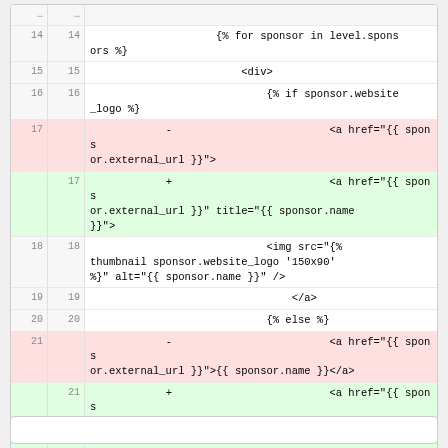[Figure (screenshot): Code diff view showing template code with line numbers, deleted lines highlighted in red and added lines highlighted in green. Lines 14-25 visible showing Jinja2/Django template syntax for sponsor display with HTML links.]
snippet bottom partial view